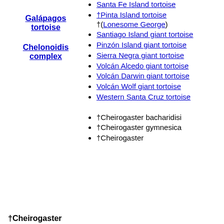Santa Fe Island tortoise
Galápagos tortoise
Chelonoidis complex
†Pinta Island tortoise †(Lonesome George)
Santiago Island giant tortoise
Pinzón Island giant tortoise
Sierra Negra giant tortoise
Volcán Alcedo giant tortoise
Volcán Darwin giant tortoise
Volcán Wolf giant tortoise
Western Santa Cruz tortoise
†Cheirogaster
†Cheirogaster bacharidisi
†Cheirogaster gymnesica
†Cheirogaster (truncated)